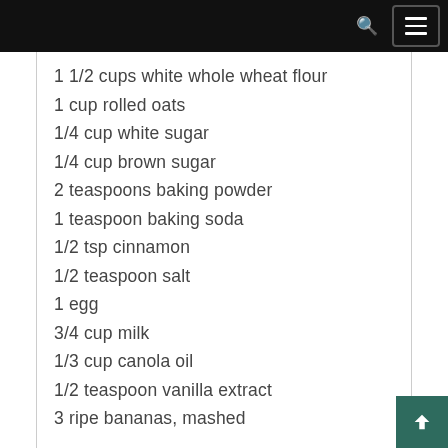1 1/2 cups white whole wheat flour
1 cup rolled oats
1/4 cup white sugar
1/4 cup brown sugar
2 teaspoons baking powder
1 teaspoon baking soda
1/2 tsp cinnamon
1/2 teaspoon salt
1 egg
3/4 cup milk
1/3 cup canola oil
1/2 teaspoon vanilla extract
3 ripe bananas, mashed